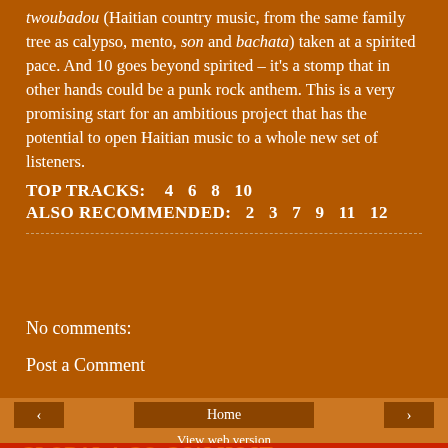twoubadou (Haitian country music, from the same family tree as calypso, mento, son and bachata) taken at a spirited pace. And 10 goes beyond spirited – it's a stomp that in other hands could be a punk rock anthem. This is a very promising start for an ambitious project that has the potential to open Haitian music to a whole new set of listeners.
TOP TRACKS: 4 6 8 10
ALSO RECOMMENDED: 2 3 7 9 11 12
No comments:
Post a Comment
‹
Home
›
View web version
GLOBAL A GO-GO'S HOST